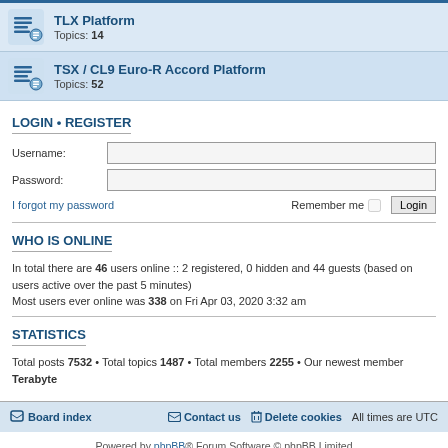TLX Platform — Topics: 14
TSX / CL9 Euro-R Accord Platform — Topics: 52
LOGIN • REGISTER
Username:
Password:
I forgot my password
Remember me  Login
WHO IS ONLINE
In total there are 46 users online :: 2 registered, 0 hidden and 44 guests (based on users active over the past 5 minutes)
Most users ever online was 338 on Fri Apr 03, 2020 3:32 am
STATISTICS
Total posts 7532 • Total topics 1487 • Total members 2255 • Our newest member Terabyte
Board index   Contact us   Delete cookies   All times are UTC
Powered by phpBB® Forum Software © phpBB Limited
Privacy | Terms